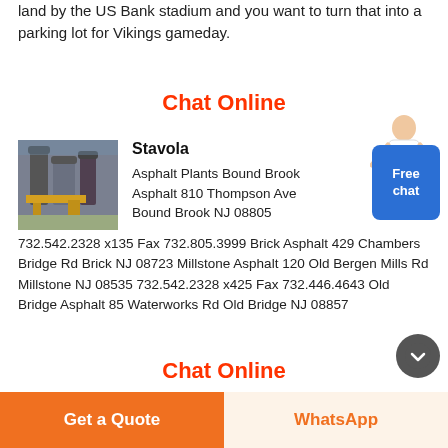land by the US Bank stadium and you want to turn that into a parking lot for Vikings gameday.
Chat Online
Stavola
[Figure (photo): Industrial asphalt plant equipment with silos and yellow machinery]
Asphalt Plants Bound Brook Asphalt 810 Thompson Ave Bound Brook NJ 08805 732.542.2328 x135 Fax 732.805.3999 Brick Asphalt 429 Chambers Bridge Rd Brick NJ 08723 Millstone Asphalt 120 Old Bergen Mills Rd Millstone NJ 08535 732.542.2328 x425 Fax 732.446.4643 Old Bridge Asphalt 85 Waterworks Rd Old Bridge NJ 08857
[Figure (illustration): Customer service person figure pointing to Free chat badge]
Chat Online
Get a Quote
WhatsApp